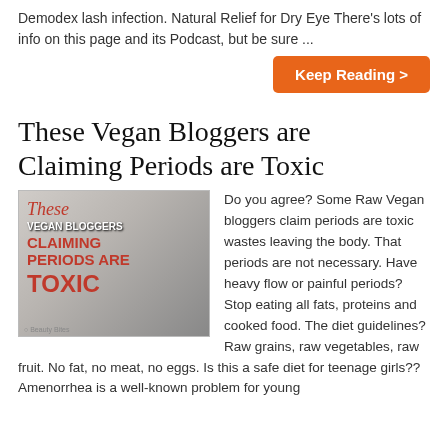Demodex lash infection. Natural Relief for Dry Eye There's lots of info on this page and its Podcast, but be sure ...
Keep Reading >
These Vegan Bloggers are Claiming Periods are Toxic
[Figure (photo): Blog post thumbnail image showing a young woman huddled with text overlay reading 'These Vegan Bloggers Claiming Periods Are Toxic']
Do you agree? Some Raw Vegan bloggers claim periods are toxic wastes leaving the body. That periods are not necessary. Have heavy flow or painful periods? Stop eating all fats, proteins and cooked food. The diet guidelines? Raw grains, raw vegetables, raw fruit. No fat, no meat, no eggs. Is this a safe diet for teenage girls?? Amenorrhea is a well-known problem for young